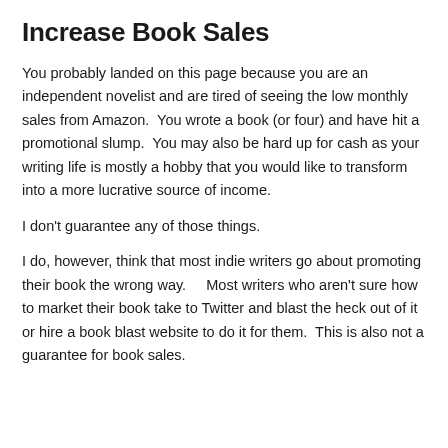Increase Book Sales
You probably landed on this page because you are an independent novelist and are tired of seeing the low monthly sales from Amazon.  You wrote a book (or four) and have hit a promotional slump.  You may also be hard up for cash as your writing life is mostly a hobby that you would like to transform into a more lucrative source of income.
I don't guarantee any of those things.
I do, however, think that most indie writers go about promoting their book the wrong way.    Most writers who aren't sure how to market their book take to Twitter and blast the heck out of it or hire a book blast website to do it for them.  This is also not a guarantee for book sales.